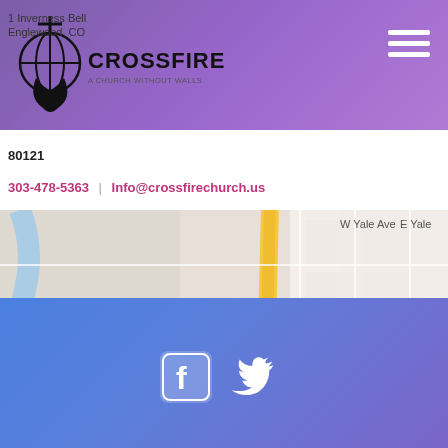[Figure (logo): Crossfire Church logo with globe and cross icon, text reads CROSSFIRE - A CHURCH WITHOUT WALLS]
[Figure (other): Hamburger menu icon (three horizontal white lines)]
80121
303-478-5363    Info@crossfirechurch.us
[Figure (map): Google Maps view showing area around W Yale Ave, W Dartmouth Ave, S Elati St, S Cherokee, S Platte River Dr, E Yale, E Dartmouth Ave, with a pink/magenta location pin marker and ARAPA ACRES label. Map data ©2022 Google. Keyboard shortcuts. Terms of Use.]
[Figure (other): White Facebook icon and white Twitter bird icon on blue gradient footer bar]